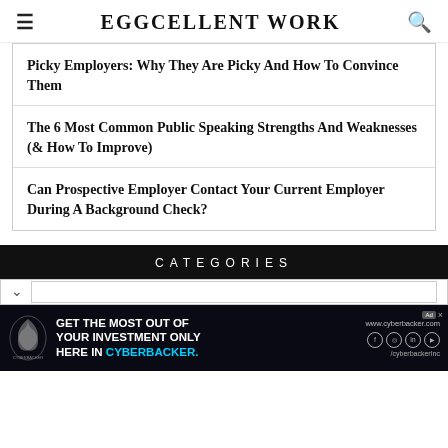EGGCELLENT WORK
Picky Employers: Why They Are Picky And How To Convince Them
The 6 Most Common Public Speaking Strengths And Weaknesses (& How To Improve)
Can Prospective Employer Contact Your Current Employer During A Background Check?
CATEGORIES
[Figure (screenshot): Cyberbacker advertisement banner with logo, text, social media icons, and URL]
GET THE MOST OUT OF YOUR INVESTMENT ONLY HERE IN CYBERBACKER. www.cyberbacker.com /cyberbackerInc